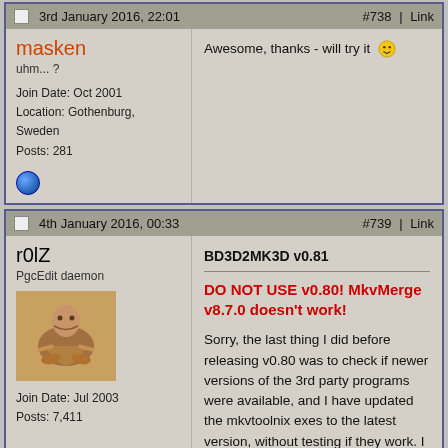3rd January 2016, 22:01   #738 | Link
masken
uhm... ?
Join Date: Oct 2001
Location: Gothenburg, Sweden
Posts: 281
Awesome, thanks - will try it 😊
4th January 2016, 00:33   #739 | Link
r0lZ
PgcEdit daemon
Join Date: Jul 2003
Posts: 7,411
BD3D2MK3D v0.81
DO NOT USE v0.80! MkvMerge v8.7.0 doesn't work!
Sorry, the last thing I did before releasing v0.80 was to check if newer versions of the 3rd party programs were available, and I have updated the mkvtoolnix exes to the latest version, without testing if they work. I just finished an encoding right now, and I have noticed that the final mkv is not produced. After some investigation, my conclusion is that MkvMerge v8.7.0 is totally buggy, at least the Windows version. It cannot